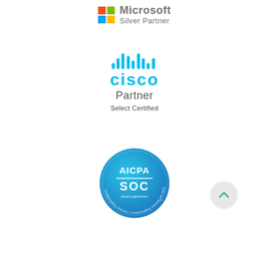[Figure (logo): Microsoft Silver Partner logo with four-color grid icon and text]
[Figure (logo): Cisco Partner Select Certified logo with cyan dot-bar graphic and text]
[Figure (logo): AICPA SOC badge circular seal with blue gradient, text: AICPA SOC, aicpa.org/soc4so, SOC for Service Organizations | Service Organizations]
[Figure (other): Back to top button: circular light grey button with green upward chevron arrow]